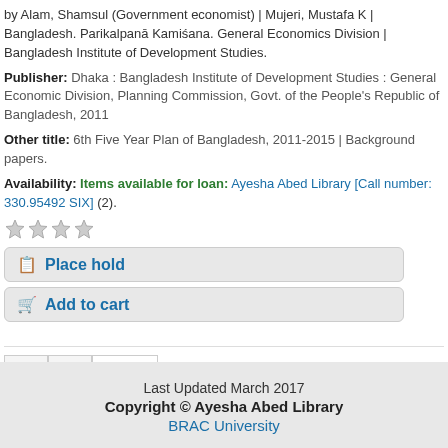by Alam, Shamsul (Government economist) | Mujeri, Mustafa K | Bangladesh. Parikalpanā Kamiśana. General Economics Division | Bangladesh Institute of Development Studies.
Publisher: Dhaka : Bangladesh Institute of Development Studies : General Economic Division, Planning Commission, Govt. of the People's Republic of Bangladesh, 2011
Other title: 6th Five Year Plan of Bangladesh, 2011-2015 | Background papers.
Availability: Items available for loan: Ayesha Abed Library [Call number: 330.95492 SIX] (2).
[Figure (other): Star rating widget with 4 empty/grey stars]
Place hold
Add to cart
Pagination: 1, 2, Next »
Last Updated March 2017
Copyright © Ayesha Abed Library
BRAC University